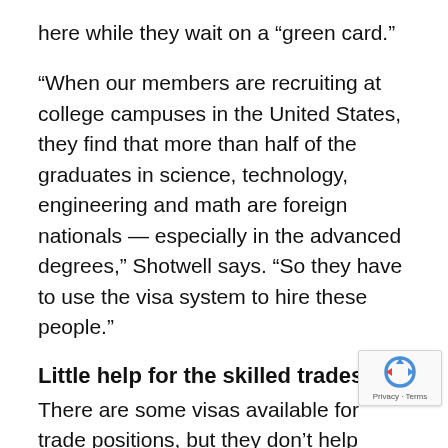here while they wait on a “green card.”
“When our members are recruiting at college campuses in the United States, they find that more than half of the graduates in science, technology, engineering and math are foreign nationals — especially in the advanced degrees,” Shotwell says. “So they have to use the visa system to hire these people.”
Little help for the skilled trades
There are some visas available for trade positions, but they don’t help machining companies or other industries trying to recruit skilled labor. H-2A visas are specific to agricultural workers, only last for nine months, and can’t be renewed. H-2B visas co be used for machinists, but like the H-2A visas, they